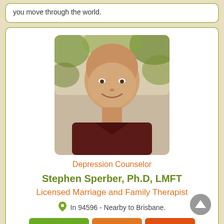you move through the world.
[Figure (photo): Portrait photo of Stephen Sperber, a middle-aged man with a shaved head wearing a dark maroon shirt, photographed outdoors with green foliage background]
Depression Counselor
Stephen Sperber, Ph.D, LMFT
Licensed Marriage and Family Therapist
In 94596 - Nearby to Brisbane.